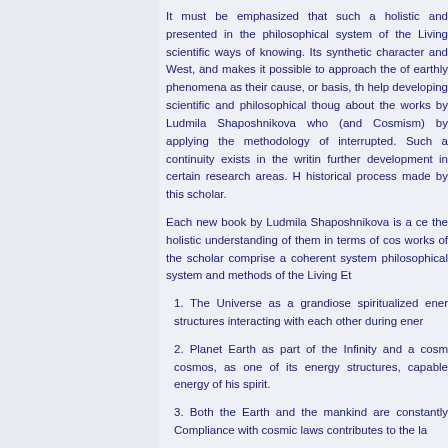It must be emphasized that such a holistic and presented in the philosophical system of the Living scientific ways of knowing. Its synthetic character and West, and makes it possible to approach the of earthly phenomena as their cause, or basis, th help developing scientific and philosophical thoug about the works by Ludmila Shaposhnikova who (and Cosmism) by applying the methodology of interrupted. Such a continuity exists in the writin further development in certain research areas. H historical process made by this scholar.
Each new book by Ludmila Shaposhnikova is a ce the holistic understanding of them in terms of cos works of the scholar comprise a coherent system philosophical system and methods of the Living Et
1. The Universe as a grandiose spiritualized ener structures interacting with each other during ener
2. Planet Earth as part of the Infinity and a cosm cosmos, as one of its energy structures, capable energy of his spirit.
3. Both the Earth and the mankind are constantly Compliance with cosmic laws contributes to the la
4. The reasonable forces of the spiritualized cosm Teachers, whose complex evolutionary activity is Their work: "The activity of the Cosmic Hierarchs organizing system of the spirit and the energy hea